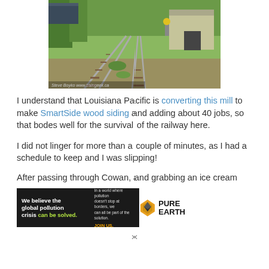[Figure (photo): Railway tracks curving through green grass toward a building/mill, with a freight car visible on the left. Photo credit: Steve Boyko www.traingeek.ca]
I understand that Louisiana Pacific is converting this mill to make SmartSide wood siding and adding about 40 jobs, so that bodes well for the survival of the railway here.
I did not linger for more than a couple of minutes, as I had a schedule to keep and I was slipping!
After passing through Cowan, and grabbing an ice cream
[Figure (other): Pure Earth advertisement banner: 'We believe the global pollution crisis can be solved.' / 'In a world where pollution doesn't stop at borders, we can all be part of the solution. JOIN US.' with Pure Earth logo]